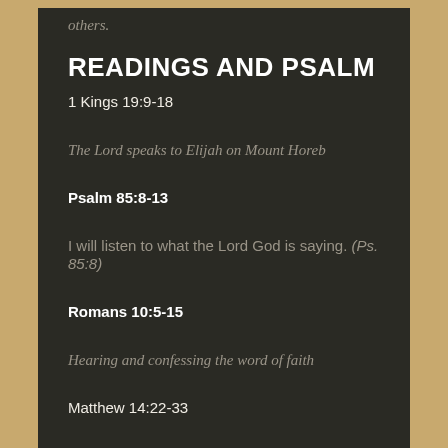others.
READINGS AND PSALM
1 Kings 19:9-18
The Lord speaks to Elijah on Mount Horeb
Psalm 85:8-13
I will listen to what the Lord God is saying. (Ps. 85:8)
Romans 10:5-15
Hearing and confessing the word of faith
Matthew 14:22-33